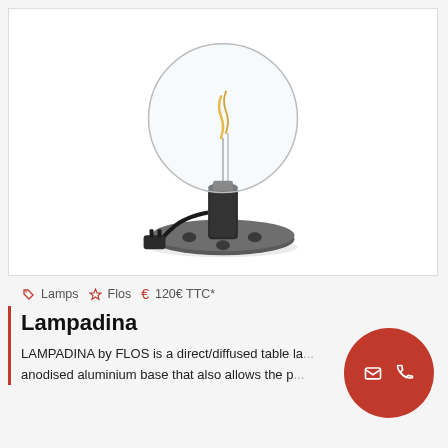[Figure (photo): Product photo of Lampadina table lamp by FLOS. A transparent globe-shaped light bulb with visible filament sits on a round dark anodised aluminium base with cable and plug visible.]
Lamps  Flos  120€ TTC*
Lampadina
LAMPADINA by FLOS is a direct/diffused table la... anodised aluminium base that also allows the p...